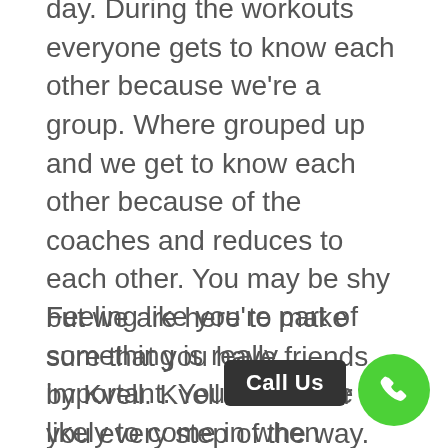day. During the workouts everyone gets to know each other because we're a group. Where grouped up and we get to know each other because of the coaches and reduces to each other. You may be shy but we are here to make sure that you have friends by Kvell. Kvell is here for you every step of the way. To learn more about what we do and why we do it and to see client testimonials and client success stories and visit our website at www.kvellfit.com or give us a call at (208) 314-2110.
Feeling like you're part of something is really important. You'll be more likely to come in when people are relying on you to come in. When the coaches are expecting me because you sign up a week in advance for